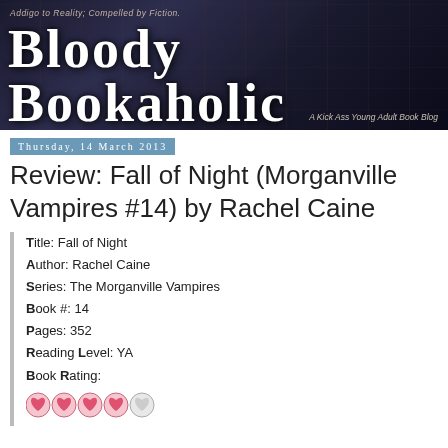[Figure (illustration): Bloody Bookaholic blog header banner with dark background and bookshelves, large white text reading 'Bloody Bookaholic', subtitle 'Addigo to Reality; Compelled by Fiction' and tagline 'A Kick Ass Young Adult Book Blog']
Thursday, 14 March 2013
Review: Fall of Night (Morganville Vampires #14) by Rachel Caine
[Figure (illustration): Book cover of Fall of Night (The Morganville Vampires) - New York Times Bestselling Series, showing a red-haired girl against a green leafy background]
Title: Fall of Night
Author: Rachel Caine
Series: The Morganville Vampires
Book #: 14
Pages: 352
Reading Level: YA
Book Rating:
[Figure (infographic): Book rating shown as heart icons - 4 filled pink/red hearts and 1 empty/grey heart]